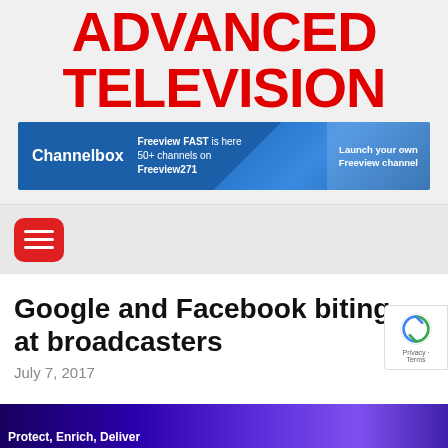ADVANCED TELEVISION
[Figure (infographic): Channelbox advertisement banner: 'Freeview FAST is here 50+ channels on Freeview271 — Launch your own Freeview channel']
[Figure (other): Red rounded square hamburger menu button with three white horizontal lines]
Google and Facebook biting at broadcasters
July 7, 2017
[Figure (photo): Article image strip at bottom showing purple/blue gradient background with partial text 'Protect, Enrich, Deliver']